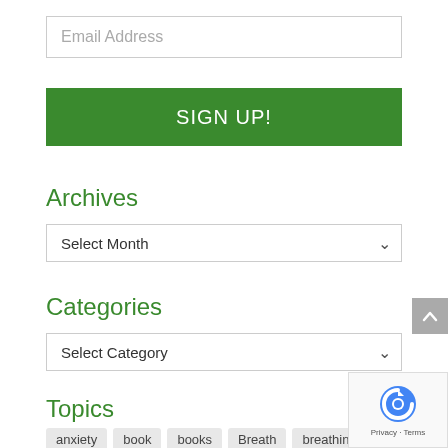Email Address
SIGN UP!
Archives
Select Month
Categories
Select Category
Topics
anxiety
book
books
Breath
breathing
child